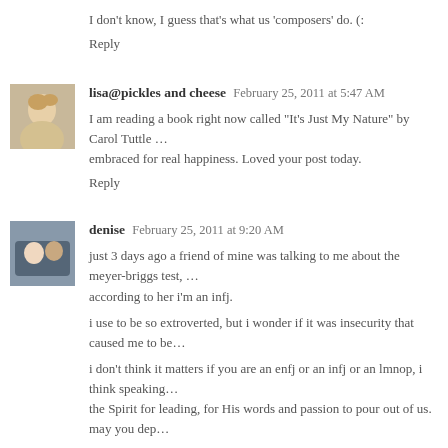I don't know, I guess that's what us 'composers' do. (:
Reply
lisa@pickles and cheese  February 25, 2011 at 5:47 AM
I am reading a book right now called "It's Just My Nature" by Carol Tuttle ...embraced for real happiness. Loved your post today.
Reply
denise  February 25, 2011 at 9:20 AM
just 3 days ago a friend of mine was talking to me about the meyer-briggs test, ...according to her i'm an infj.
i use to be so extroverted, but i wonder if it was insecurity that caused me to be...
i don't think it matters if you are an enfj or an infj or an lmnop, i think speaking... the Spirit for leading, for His words and passion to pour out of us. may you dep...
Reply
mother of many  February 25, 2011 at 9:33 AM